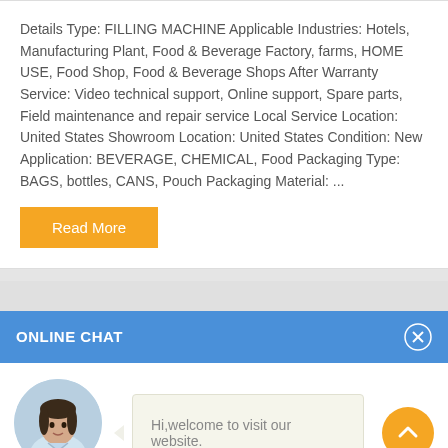Details Type: FILLING MACHINE Applicable Industries: Hotels, Manufacturing Plant, Food & Beverage Factory, farms, HOME USE, Food Shop, Food & Beverage Shops After Warranty Service: Video technical support, Online support, Spare parts, Field maintenance and repair service Local Service Location: United States Showroom Location: United States Condition: New Application: BEVERAGE, CHEMICAL, Food Packaging Type: BAGS, bottles, CANS, Pouch Packaging Material: ...
Read More
ONLINE CHAT
[Figure (photo): Avatar photo of a woman named Cilina]
Cilina
Hi,welcome to visit our website.